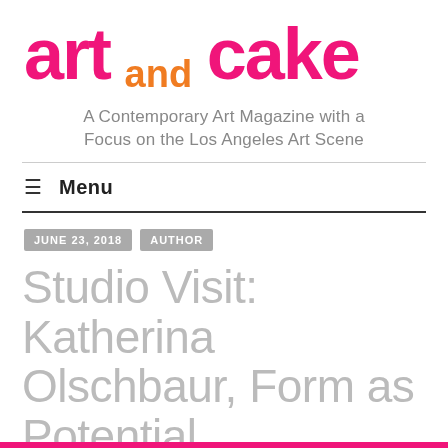art and cake
A Contemporary Art Magazine with a Focus on the Los Angeles Art Scene
Menu
JUNE 23, 2018   AUTHOR
Studio Visit: Katherina Olschbaur, Form as Potential